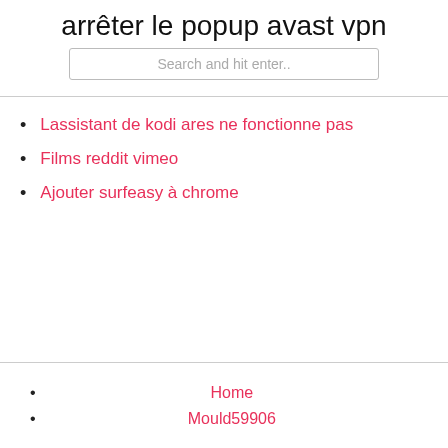arrêter le popup avast vpn
Search and hit enter..
Lassistant de kodi ares ne fonctionne pas
Films reddit vimeo
Ajouter surfeasy à chrome
Home
Mould59906